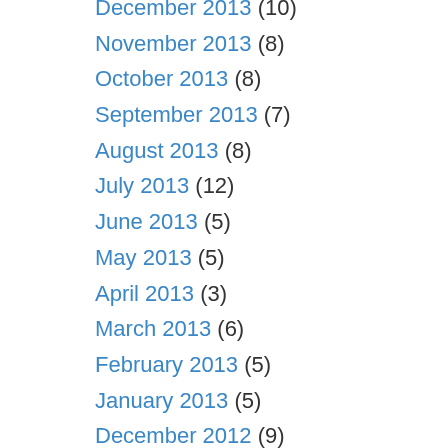December 2013 (10)
November 2013 (8)
October 2013 (8)
September 2013 (7)
August 2013 (8)
July 2013 (12)
June 2013 (5)
May 2013 (5)
April 2013 (3)
March 2013 (6)
February 2013 (5)
January 2013 (5)
December 2012 (9)
November 2012 (9)
October 2012 (9)